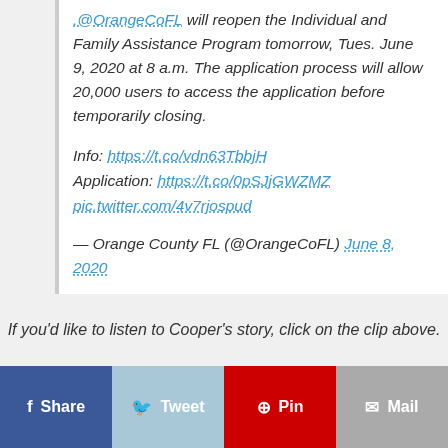.@OrangeCoFL will reopen the Individual and Family Assistance Program tomorrow, Tues. June 9, 2020 at 8 a.m. The application process will allow 20,000 users to access the application before temporarily closing.

Info: https://t.co/vdn63TbbjH
Application: https://t.co/0pSJjGWZMZ
pic.twitter.com/4v7rjospud

— Orange County FL (@OrangeCoFL) June 8, 2020
If you'd like to listen to Cooper's story, click on the clip above.